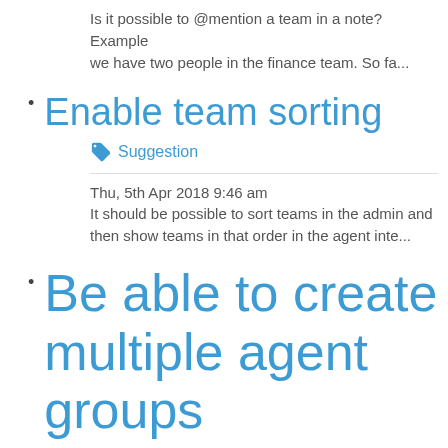Is it possible to @mention a team in a note? Example we have two people in the finance team. So fa...
Enable team sorting
Suggestion
Thu, 5th Apr 2018 9:46 am
It should be possible to sort teams in the admin and then show teams in that order in the agent inte...
Be able to create multiple agent groups for ticket assignments and restrict them